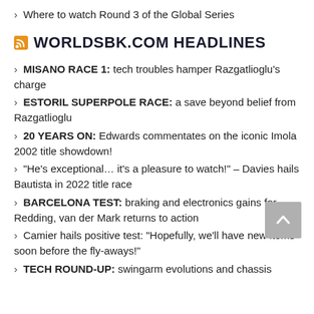› Where to watch Round 3 of the Global Series
WORLDSBK.COM HEADLINES
› MISANO RACE 1: tech troubles hamper Razgatlioglu's charge
› ESTORIL SUPERPOLE RACE: a save beyond belief from Razgatlioglu
› 20 YEARS ON: Edwards commentates on the iconic Imola 2002 title showdown!
› "He's exceptional… it's a pleasure to watch!" – Davies hails Bautista in 2022 title race
› BARCELONA TEST: braking and electronics gains for Redding, van der Mark returns to action
› Camier hails positive test: "Hopefully, we'll have new items soon before the fly-aways!"
› TECH ROUND-UP: swingarm evolutions and chassis